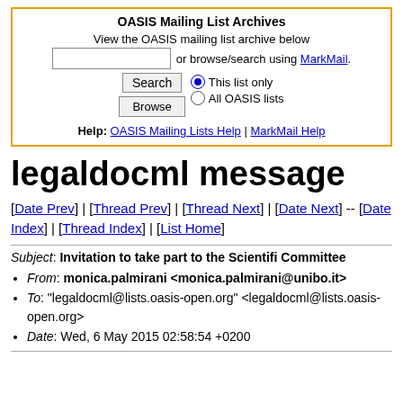[Figure (screenshot): OASIS Mailing List Archives search widget with yellow/orange border, search input, Search button, Browse button, MarkMail link, radio buttons for This list only / All OASIS lists, and Help links.]
legaldocml message
[Date Prev] | [Thread Prev] | [Thread Next] | [Date Next] -- [Date Index] | [Thread Index] | [List Home]
Subject: Invitation to take part to the Scientifi Committee
From: monica.palmirani <monica.palmirani@unibo.it>
To: "legaldocml@lists.oasis-open.org" <legaldocml@lists.oasis-open.org>
Date: Wed, 6 May 2015 02:58:54 +0200